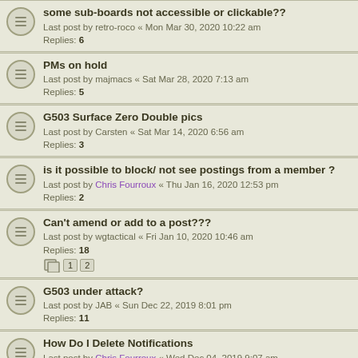some sub-boards not accessible or clickable??
Last post by retro-roco « Mon Mar 30, 2020 10:22 am
Replies: 6
PMs on hold
Last post by majmacs « Sat Mar 28, 2020 7:13 am
Replies: 5
G503 Surface Zero Double pics
Last post by Carsten « Sat Mar 14, 2020 6:56 am
Replies: 3
is it possible to block/ not see postings from a member ?
Last post by Chris Fourroux « Thu Jan 16, 2020 12:53 pm
Replies: 2
Can't amend or add to a post???
Last post by wgtactical « Fri Jan 10, 2020 10:46 am
Replies: 18
G503 under attack?
Last post by JAB « Sun Dec 22, 2019 8:01 pm
Replies: 11
How Do I Delete Notifications
Last post by Chris Fourroux « Wed Dec 04, 2019 9:07 am
Replies: 1
Saving A Post
Last post by Jerry Hudgens « Thu Nov 21, 2019 9:15 am
Replies: 5
Can't upload photos to my G503 Album
Last post by kw573 « Sun Sep 22, 2019 6:09 pm
Replies: 14
Log into jeep database.
Last post by sturgis « Fri Jun 28, 2019 6:29 am
Replies: 2